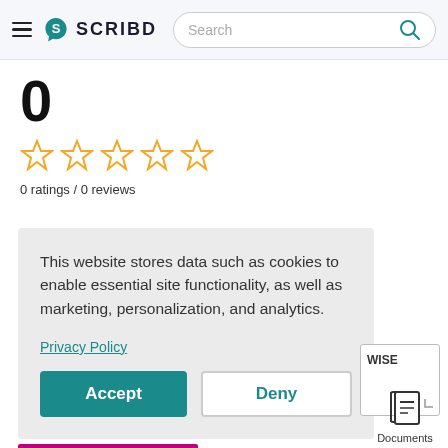Scribd — Search
0
0 ratings / 0 reviews
This website stores data such as cookies to enable essential site functionality, as well as marketing, personalization, and analytics.

Privacy Policy

Accept   Deny